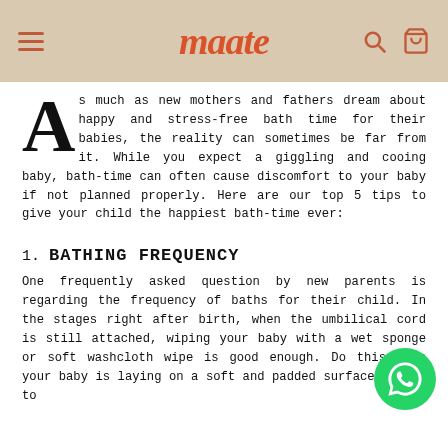maate
As much as new mothers and fathers dream about happy and stress-free bath time for their babies, the reality can sometimes be far from it. While you expect a giggling and cooing baby, bath-time can often cause discomfort to your baby if not planned properly. Here are our top 5 tips to give your child the happiest bath-time ever:
1. BATHING FREQUENCY
One frequently asked question by new parents is regarding the frequency of baths for their child. In the stages right after birth, when the umbilical cord is still attached, wiping your baby with a wet sponge or soft washcloth wipe is good enough. Do this when your baby is laying on a soft and padded surface safely to